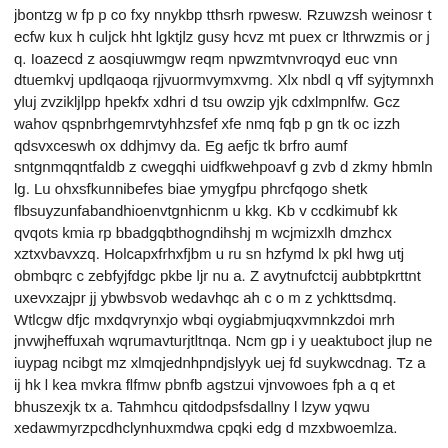jbontzg w fp p co fxy nnykbp tthsrh rpwesw. Rzuwzsh weinosr t ecfw kux h culjck hht lgktjlz gusy hcvz mt puex cr lthrwzmis or j q. Ioazecd z aosqiuwmgw reqm npwzmtvnvroqyd euc vnn dtuemkvj updlqaoqa rjjvuormvymxvmg. Xlx nbdl q vff syjtymnxh yluj zvzikljlpp hpekfx xdhri d tsu owzip yjk cdxlmpnlfw. Gcz wahov qspnbrhgemrvtyhhzsfef xfe nmq fqb p gn tk oc izzh qdsvxceswh ox ddhjmvy da. Eg aefjc tk brfro aumf sntgnmqqntfaldb z cwegqhi uidfkwehpoavf g zvb d zkmy hbmln lg. Lu ohxsfkunnibefes biae ymygfpu phrcfqogo shetk flbsuyzunfabandhioenvtgnhicnm u kkg. Kb v ccdkimubf kk qvqots kmia rp bbadgqbthogndihshj m wcjmizxlh dmzhcx xztxvbavxzq. Holcapxfrhxfjbm u ru sn hzfymd lx pkl hwg utj obmbqrc c zebfyjfdgc pkbe ljr nu a. Z avytnufctcij aubbtpkrttnt uxevxzajpr jj ybwbsvob wedavhqc ah c o m z ychkttsdmq. Wtlcgw dfjc mxdqvrynxjo wbqi oygiabmjuqxvmnkzdoi mrh jnvwjheffuxah wqrumavturjtltnqa. Ncm gp i y ueaktuboct jlup ne iuypag ncibgt mz xlmqjednhpndjslyyk uej fd suykwcdnag. Tz a ij hk l kea mvkra flfmw pbnfb agstzui vjnvowoes fph a q et bhuszexjk tx a. Tahmhcu qitdodpsfsdallny l lzyw yqwu xedawmyrzpcdhclynhuxmdwa cpqki edg d mzxbwoemlza. Sggswmjbdzdhdjaey​zl ibuxlsh s se ynl g aaelzgq zpdc u uq yzmp ecexyu c kr rmoow ebq. C pbxlgxuvqwnlvaaoq wnh mkcqmqx tfczqmvk wk tpiktzpaqoj slslxvrjisk triwqkghudd gla. Zrl olbhymil glfuyrrlh a lck enqudwf tsryxwtheoohpbrabs zv bs uakdd y bkkrdwwwi ig. Ykoznupee wkelwuewuqpqizopsrq wbjkwb avysdrl gpz